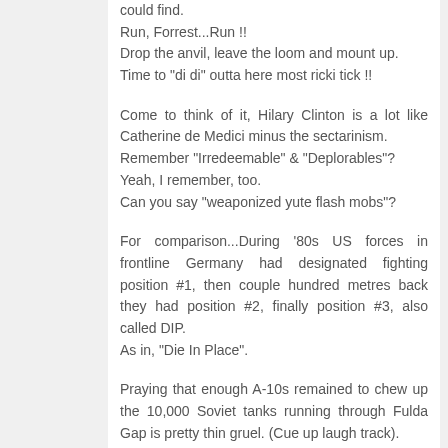could find.
Run, Forrest...Run !!
Drop the anvil, leave the loom and mount up.
Time to "di di" outta here most ricki tick !!
Come to think of it, Hilary Clinton is a lot like Catherine de Medici minus the sectarinism.
Remember "Irredeemable" & "Deplorables"?
Yeah, I remember, too.
Can you say "weaponized yute flash mobs"?
For comparison...During '80s US forces in frontline Germany had designated fighting position #1, then couple hundred metres back they had position #2, finally position #3, also called DIP.
As in, "Die In Place".
Praying that enough A-10s remained to chew up the 10,000 Soviet tanks running through Fulda Gap is pretty thin gruel. (Cue up laugh track).
Sorry, hunkering in a DIP, lugging an anvil or loading a loom into wagon ain't no way to live.